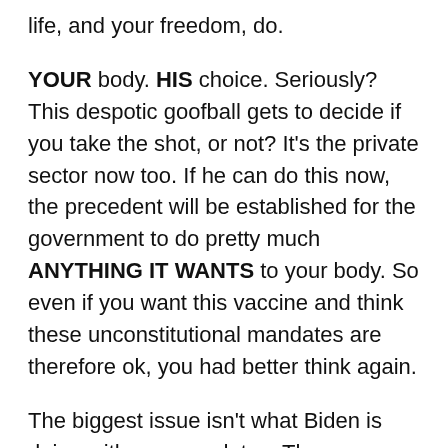life, and your freedom, do.
YOUR body. HIS choice. Seriously? This despotic goofball gets to decide if you take the shot, or not? It's the private sector now too. If he can do this now, the precedent will be established for the government to do pretty much ANYTHING IT WANTS to your body. So even if you want this vaccine and think these unconstitutional mandates are therefore ok, you had better think again.
The biggest issue isn't what Biden is doing with vax mandates. Those were expected. The biggest issue is that he can't be held accountable for anything he does. With our electoral system rigged, he and his party–despite 39 percent approval in polls already biased in their favor–know they aren't going anywhere. Biden isn't acting like an unpopular President in fear of losing control. He's acting